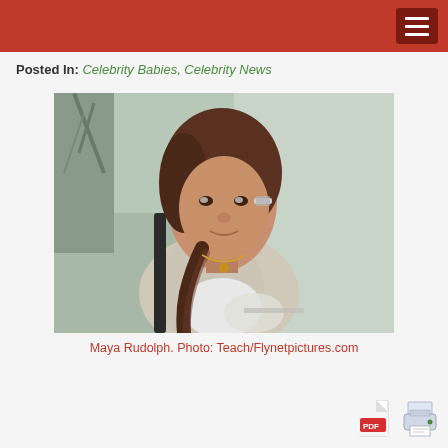Posted In: Celebrity Babies, Celebrity News
[Figure (photo): Maya Rudolph photographed outdoors with a braided hairstyle wearing a grey cardigan, carrying a bag]
Maya Rudolph. Photo: Teach/Flynetpictures.com
[Figure (other): PDF download icon and Print icon in the bottom right corner]